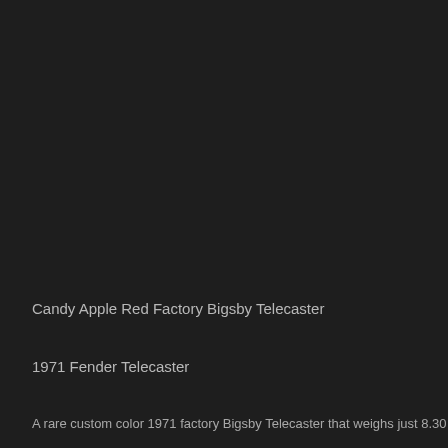Candy Apple Red Factory Bigsby Telecaster
1971 Fender Telecaster
A rare custom color 1971 factory Bigsby Telecaster that weighs just 8.30 lbs. ar